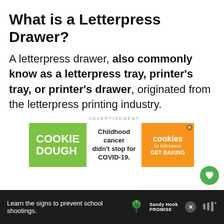What is a Letterpress Drawer?
A letterpress drawer, also commonly know as a letterpress tray, printer’s tray, or printer’s drawer, originated from the letterpress printing industry.
[Figure (screenshot): Advertisement banner for Cookie Dough for Kids Cancer charity. Green section with text COOKIE DOUGH, white center with text Childhood cancer didn’t stop for COVID-19., orange section with cookies for kids cancer GET BAKING logo and X close button.]
[Figure (screenshot): Sandy Hook Promise advertisement at page bottom on dark background. Text: Learn the signs to prevent school shootings. Sandy Hook Promise logo and tree icon visible.]